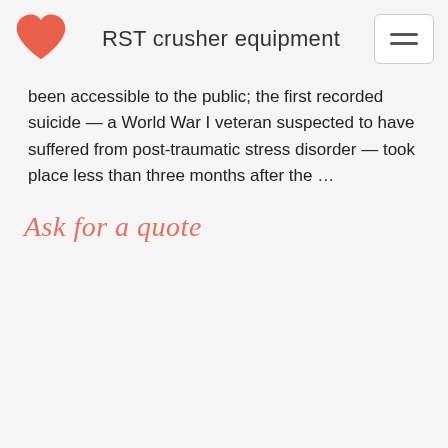RST crusher equipment
been accessible to the public; the first recorded suicide — a World War I veteran suspected to have suffered from post-traumatic stress disorder — took place less than three months after the …
Ask for a quote